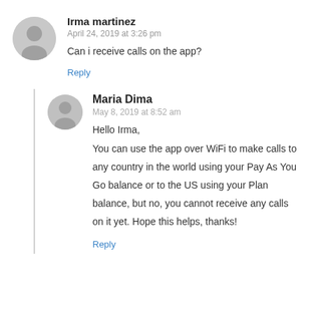Irma martinez
April 24, 2019 at 3:26 pm
Can i receive calls on the app?
Reply
Maria Dima
May 8, 2019 at 8:52 am
Hello Irma,

You can use the app over WiFi to make calls to any country in the world using your Pay As You Go balance or to the US using your Plan balance, but no, you cannot receive any calls on it yet. Hope this helps, thanks!
Reply